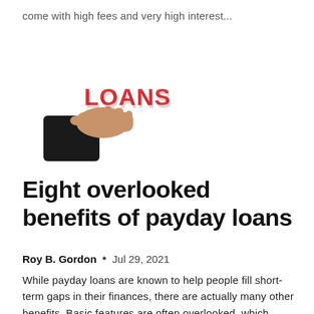come with high fees and very high interest...
[Figure (illustration): A hand in a black suit sleeve holding up red 3D block letters spelling LOANS]
Eight overlooked benefits of payday loans
Roy B. Gordon  •  Jul 29, 2021
While payday loans are known to help people fill short-term gaps in their finances, there are actually many other benefits. Basic features are often overlooked, which could make people believe that they are not a viable option.!-->...